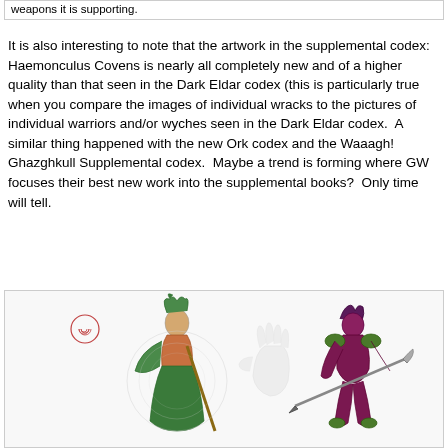weapons it is supporting.
It is also interesting to note that the artwork in the supplemental codex: Haemonculus Covens is nearly all completely new and of a higher quality than that seen in the Dark Eldar codex (this is particularly true when you compare the images of individual wracks to the pictures of individual warriors and/or wyches seen in the Dark Eldar codex.  A similar thing happened with the new Ork codex and the Waaagh! Ghazghkull Supplemental codex.  Maybe a trend is forming where GW focuses their best new work into the supplemental books?  Only time will tell.
[Figure (illustration): Two fantasy miniature illustrations side by side: left figure is a green-robed Harlequin-type character with a spiral symbol, right figure is a purple/maroon armored Dark Eldar warrior holding a long spear/lance weapon.]